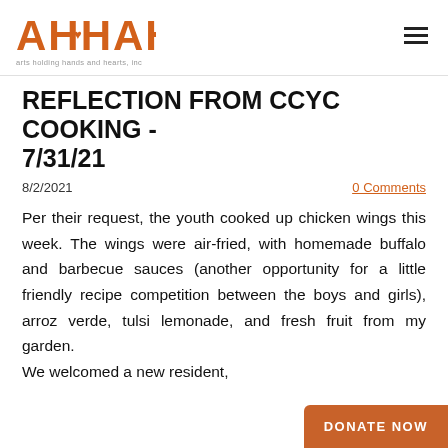AHHAH - arts holding hands and hearts, inc
REFLECTION FROM CCYC COOKING - 7/31/21
8/2/2021
0 Comments
Per their request, the youth cooked up chicken wings this week. The wings were air-fried, with homemade buffalo and barbecue sauces (another opportunity for a little friendly recipe competition between the boys and girls), arroz verde, tulsi lemonade, and fresh fruit from my garden.
We welcomed a new resident, disengaged and lethargic at the